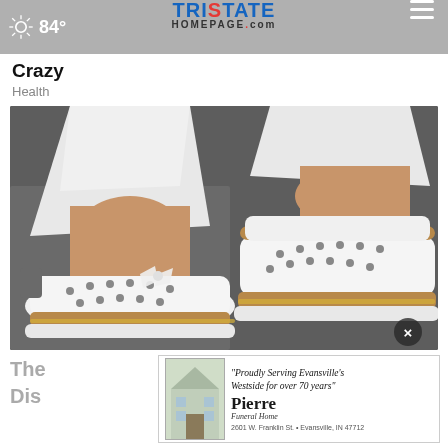84° TristateHomepage.com
Crazy
Health
[Figure (photo): Close-up photo of a person wearing white perforated slip-on sneakers with tan/brown trim and a thick white sole with gold bead detail, paired with white rolled-up pants, on a gray pavement background.]
The Dis
[Figure (other): Advertisement for Pierre Funeral Home: 'Proudly Serving Evansville's Westside for over 70 years' — 2601 W. Franklin St., Evansville, IN 47712]